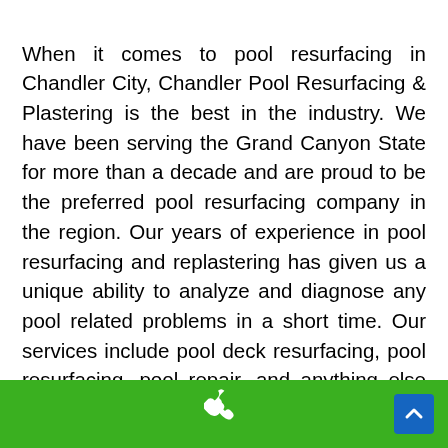When it comes to pool resurfacing in Chandler City, Chandler Pool Resurfacing & Plastering is the best in the industry. We have been serving the Grand Canyon State for more than a decade and are proud to be the preferred pool resurfacing company in the region. Our years of experience in pool resurfacing and replastering has given us a unique ability to analyze and diagnose any pool related problems in a short time. Our services include pool deck resurfacing, pool resurfacing, pool repair, and anything else you need to create the pool of your dreams. Although we started from small beginnings, our team is proud to offer top-notch service to include areas surrounding Chandler like Creekwood Ranch, Cooper Commons, Saquaro Canyon,